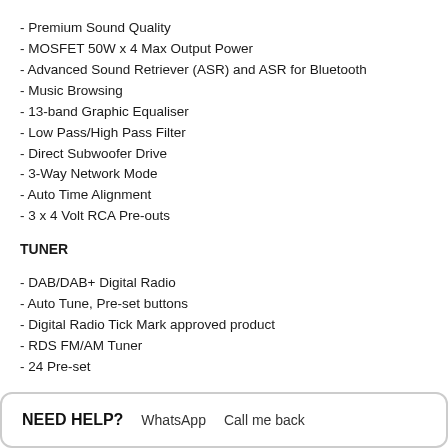- Premium Sound Quality
- MOSFET 50W x 4 Max Output Power
- Advanced Sound Retriever (ASR) and ASR for Bluetooth
- Music Browsing
- 13-band Graphic Equaliser
- Low Pass/High Pass Filter
- Direct Subwoofer Drive
- 3-Way Network Mode
- Auto Time Alignment
- 3 x 4 Volt RCA Pre-outs
TUNER
- DAB/DAB+ Digital Radio
- Auto Tune, Pre-set buttons
- Digital Radio Tick Mark approved product
- RDS FM/AM Tuner
- 24 Pre-set
FILE PLAYBACK
- Audio: WMA/MP3/WAV/AAC/FLAC
NEED HELP?   WhatsApp   Call me back